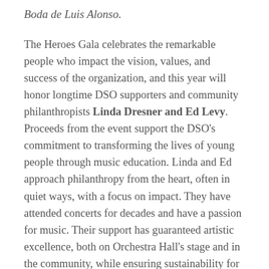Boda de Luis Alonso.
The Heroes Gala celebrates the remarkable people who impact the vision, values, and success of the organization, and this year will honor longtime DSO supporters and community philanthropists Linda Dresner and Ed Levy. Proceeds from the event support the DSO's commitment to transforming the lives of young people through music education. Linda and Ed approach philanthropy from the heart, often in quiet ways, with a focus on impact. They have attended concerts for decades and have a passion for music. Their support has guaranteed artistic excellence, both on Orchestra Hall's stage and in the community, while ensuring sustainability for the DSO for generations to come.
The event takes place at the Max M. and Marjorie S. Fisher Music Center (3711 Woodward Avenue, Detroit). The event is at Orchestra Hall. [truncated]